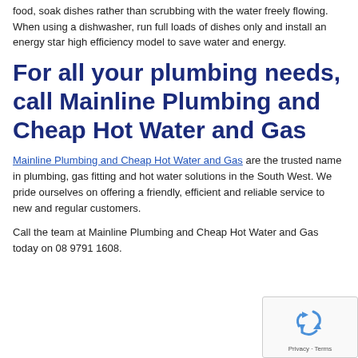food, soak dishes rather than scrubbing with the water freely flowing. When using a dishwasher, run full loads of dishes only and install an energy star high efficiency model to save water and energy.
For all your plumbing needs, call Mainline Plumbing and Cheap Hot Water and Gas
Mainline Plumbing and Cheap Hot Water and Gas are the trusted name in plumbing, gas fitting and hot water solutions in the South West. We pride ourselves on offering a friendly, efficient and reliable service to new and regular customers.
Call the team at Mainline Plumbing and Cheap Hot Water and Gas today on 08 9791 1608.
[Figure (other): reCAPTCHA widget with recycling arrows icon and Privacy - Terms footer text]